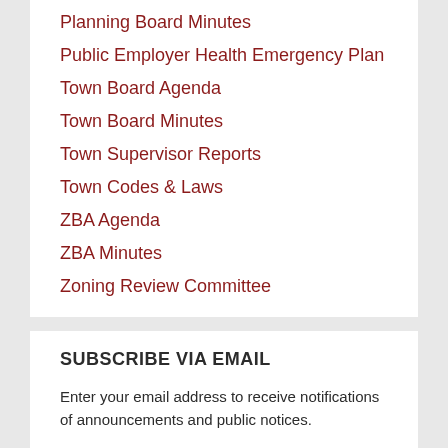Planning Board Minutes
Public Employer Health Emergency Plan
Town Board Agenda
Town Board Minutes
Town Supervisor Reports
Town Codes & Laws
ZBA Agenda
ZBA Minutes
Zoning Review Committee
SUBSCRIBE VIA EMAIL
Enter your email address to receive notifications of announcements and public notices.